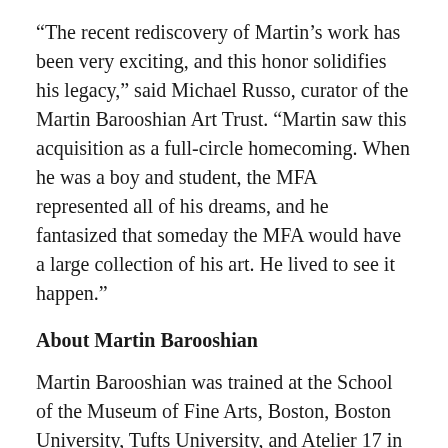“The recent rediscovery of Martin’s work has been very exciting, and this honor solidifies his legacy,” said Michael Russo, curator of the Martin Barooshian Art Trust. “Martin saw this acquisition as a full-circle homecoming. When he was a boy and student, the MFA represented all of his dreams, and he fantasized that someday the MFA would have a large collection of his art. He lived to see it happen.”
About Martin Barooshian
Martin Barooshian was trained at the School of the Museum of Fine Arts, Boston, Boston University, Tufts University, and Atelier 17 in Paris. He has been called “Pablo Picasso meets Stan Lee…who